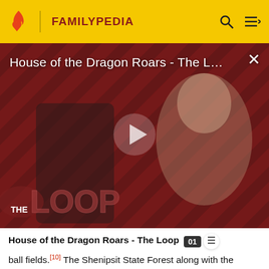FAMILYPEDIA
[Figure (screenshot): Video thumbnail showing House of the Dragon Roars - The Loop with two characters on a diagonal red/black striped background and a play button overlay. THE LOOP branding visible at bottom left.]
House of the Dragon Roars - The Loop
ball fields.[10] The Shenipsit State Forest along with the Shenipsit Trail is also partially in Somers, along with Soapstone Mountain, the highest point in the state forest.[11] The Scantic River State Park is also partially in